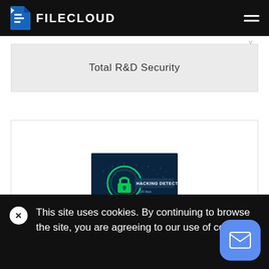FILECLOUD
y
Total R&D Security
[Figure (screenshot): Screenshot of a cybersecurity themed image showing a padlock inside a glowing green circle with the text 'HACKING DETECTED' on a dark teal digital world map background]
This site uses cookies. By continuing to browse the site, you are agreeing to our use of cookies